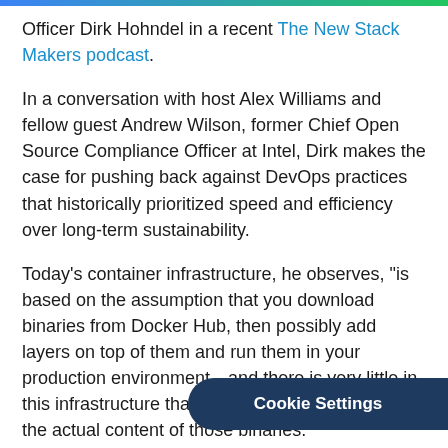Officer Dirk Hohndel in a recent The New Stack Makers podcast.
In a conversation with host Alex Williams and fellow guest Andrew Wilson, former Chief Open Source Compliance Officer at Intel, Dirk makes the case for pushing back against DevOps practices that historically prioritized speed and efficiency over long-term sustainability.
Today's container infrastructure, he observes, "is based on the assumption that you download binaries from Docker Hub, then possibly add layers on top of them and run them in your production environment—and there is very little in this infrastructure that helps you identify what is the actual content of those binaries."
The trio discusses what that means for container compliance and security, what w… difference between...